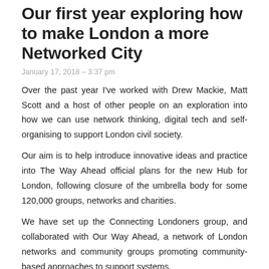Our first year exploring how to make London a more Networked City
January 17, 2018 – 3:37 pm
Over the past year I've worked with Drew Mackie, Matt Scott and a host of other people on an exploration into how we can use network thinking, digital tech and self-organising to support London civil society.
Our aim is to help introduce innovative ideas and practice into The Way Ahead official plans for the new Hub for London, following closure of the umbrella body for some 120,000 groups, networks and charities.
We have set up the Connecting Londoners group, and collaborated with Our Way Ahead, a network of London networks and community groups promoting community-based approaches to support systems.